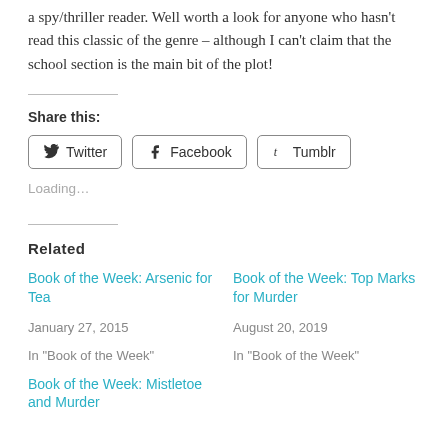a spy/thriller reader. Well worth a look for anyone who hasn't read this classic of the genre – although I can't claim that the school section is the main bit of the plot!
Share this:
Twitter  Facebook  Tumblr
Loading…
Related
Book of the Week: Arsenic for Tea
January 27, 2015
In "Book of the Week"
Book of the Week: Top Marks for Murder
August 20, 2019
In "Book of the Week"
Book of the Week: Mistletoe and Murder